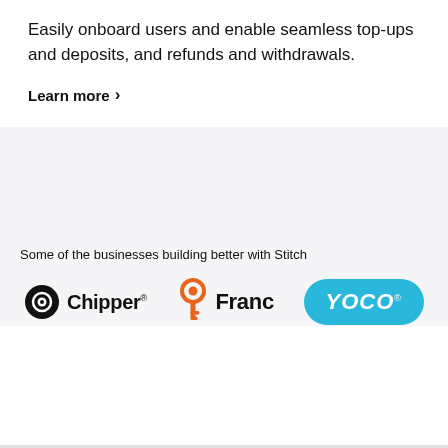Easily onboard users and enable seamless top-ups and deposits, and refunds and withdrawals.
Learn more >
Some of the businesses building better with Stitch
[Figure (logo): Chipper logo: circular target icon followed by 'Chipper' text with registered mark]
[Figure (logo): Franc logo: orange key icon followed by 'Franc' bold text]
[Figure (logo): Yoco logo: cyan/blue rounded rectangle with white bold italic 'YOCO' text and registered mark]